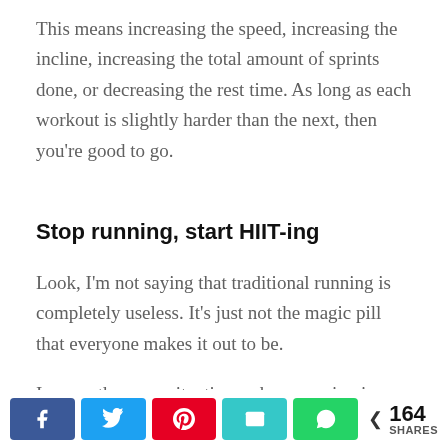This means increasing the speed, increasing the incline, increasing the total amount of sprints done, or decreasing the rest time. As long as each workout is slightly harder than the next, then you're good to go.
Stop running, start HIIT-ing
Look, I'm not saying that traditional running is completely useless. It's just not the magic pill that everyone makes it out to be.
I mean, there are situations where running is better
[Figure (infographic): Social share bar with Facebook, Twitter, Pinterest, Email, WhatsApp buttons and share count of 164 SHARES]